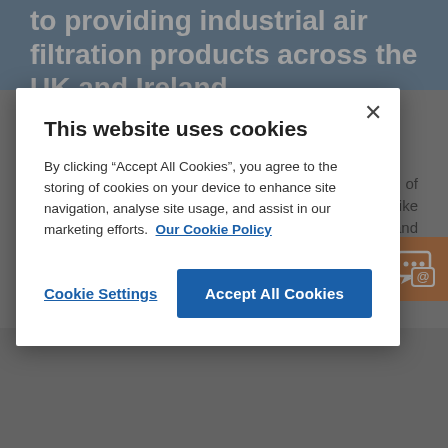to providing industrial air filtration products across the UK and Ireland.
efficiency.
Visit Our Demonstration Area
Although our website is great for browsing our range of products and equipment available, there is nothing like getting your hands on the equipment to fully understand how it works and see the benefits it could have for your business. We welcome customers to bring along materials used within their everyday work so our experienced team can
This website uses cookies
By clicking “Accept All Cookies”, you agree to the storing of cookies on your device to enhance site navigation, analyse site usage, and assist in our marketing efforts.  Our Cookie Policy
Cookie Settings
Accept All Cookies